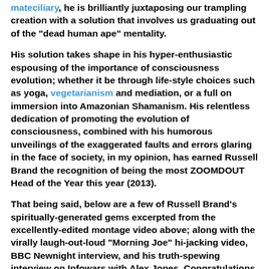mateciliary, he is brilliantly juxtaposing our trampling creation with a solution that involves us graduating out of the "dead human ape" mentality.
His solution takes shape in his hyper-enthusiastic espousing of the importance of consciousness evolution; whether it be through life-style choices such as yoga, vegetarianism and mediation, or a full on immersion into Amazonian Shamanism. His relentless dedication of promoting the evolution of consciousness, combined with his humorous unveilings of the exaggerated faults and errors glaring in the face of society, in my opinion, has earned Russell Brand the recognition of being the most ZOOMDOUT Head of the Year this year (2013).
That being said, below are a few of Russell Brand's spiritually-generated gems excerpted from the excellently-edited montage video above; along with the virally laugh-out-loud "Morning Joe" hi-jacking video, BBC Newnight interview, and his truth-spewing interview on Infowars with Alex Jones. Congratulations and much respect to Russell Brand for zooming out and coming back to share what he has learned. In